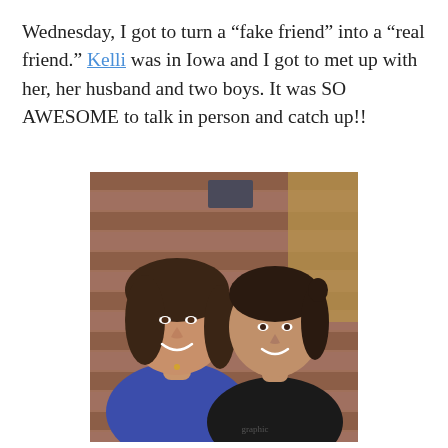Wednesday, I got to turn a “fake friend” into a “real friend.” Kelli was in Iowa and I got to met up with her, her husband and two boys. It was SO AWESOME to talk in person and catch up!!
[Figure (photo): Two women smiling and standing together indoors in front of a brick wall. The woman on the left wears a blue t-shirt; the woman on the right wears a black tank top.]